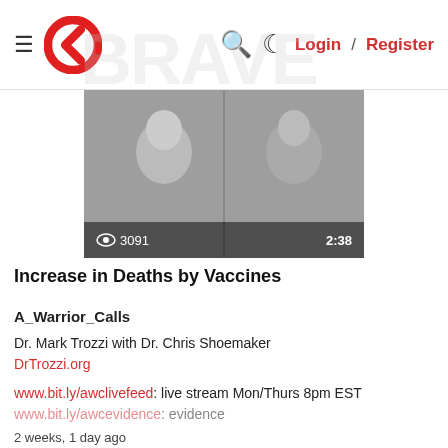Login / Register
[Figure (screenshot): Video thumbnail showing two people in a split-screen with view count 3091 and duration 2:38]
Increase in Deaths by Vaccines
A_Warrior_Calls
Dr. Mark Trozzi with Dr. Chris Shoemaker
DrTrozzi.org

www.bit.ly/awclivefeed: live stream Mon/Thurs 8pm EST
www.bit.ly/awcevidence: evidence
2 weeks, 1 day ago
[Figure (screenshot): Video thumbnail showing The War Room Full Show text overlay on a dark background with a person visible]